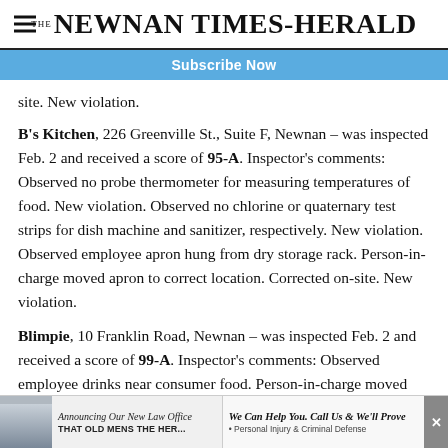THE NEWNAN TIMES-HERALD
Subscribe Now
site. New violation.
B's Kitchen, 226 Greenville St., Suite F, Newnan – was inspected Feb. 2 and received a score of 95-A. Inspector's comments: Observed no probe thermometer for measuring temperatures of food. New violation. Observed no chlorine or quaternary test strips for dish machine and sanitizer, respectively. New violation. Observed employee apron hung from dry storage rack. Person-in-charge moved apron to correct location. Corrected on-site. New violation.
Blimpie, 10 Franklin Road, Newnan – was inspected Feb. 2 and received a score of 99-A. Inspector's comments: Observed employee drinks near consumer food. Person-in-charge moved